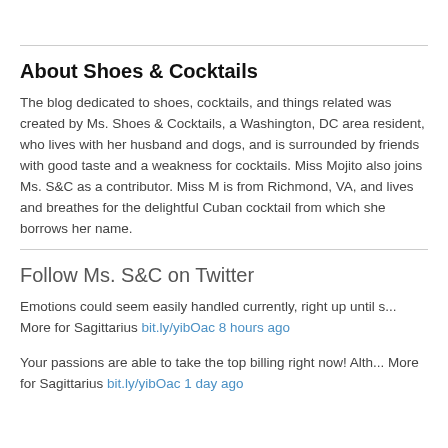About Shoes & Cocktails
The blog dedicated to shoes, cocktails, and things related was created by Ms. Shoes & Cocktails, a Washington, DC area resident, who lives with her husband and dogs, and is surrounded by friends with good taste and a weakness for cocktails. Miss Mojito also joins Ms. S&C as a contributor. Miss M is from Richmond, VA, and lives and breathes for the delightful Cuban cocktail from which she borrows her name.
Follow Ms. S&C on Twitter
Emotions could seem easily handled currently, right up until s... More for Sagittarius bit.ly/yibOac 8 hours ago
Your passions are able to take the top billing right now! Alth... More for Sagittarius bit.ly/yibOac 1 day ago